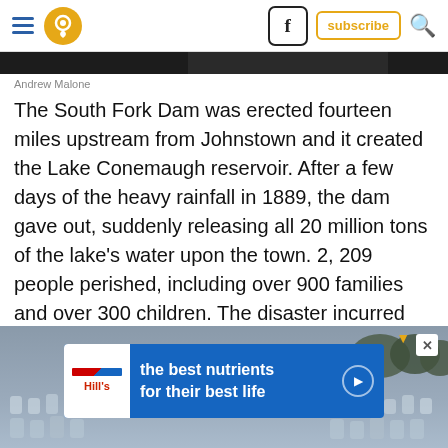Navigation bar with hamburger menu, location pin, Facebook icon, subscribe button, search icon
[Figure (photo): Dark image strip at the top of the article, partially cropped photo]
Andrew Malone
The South Fork Dam was erected fourteen miles upstream from Johnstown and it created the Lake Conemaugh reservoir. After a few days of the heavy rainfall in 1889, the dam gave out, suddenly releasing all 20 million tons of the lake's water upon the town. 2, 209 people perished, including over 900 families and over 300 children. The disaster incurred millions of dollars in damages and its victims were unsuccessful in recovering legal damages from the dam's owners.
[Figure (photo): Advertisement banner showing Hill's Pet Nutrition ad with text 'the best nutrients for their best life' over a background photo of cemetery headstones]